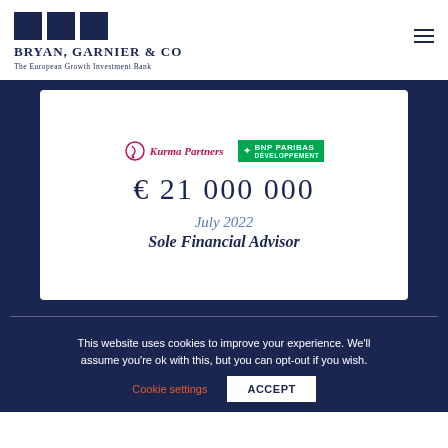[Figure (logo): Bryan, Garnier & Co logo with three navy squares and text 'Bryan, Garnier & Co' and tagline 'The European Growth Investment Bank']
[Figure (infographic): White card on navy background showing Kurma Partners and BNP Paribas Développement logos, amount € 21 000 000, date July 2022, and role Sole Financial Advisor]
This website uses cookies to improve your experience. We'll assume you're ok with this, but you can opt-out if you wish.
Cookie settings   ACCEPT